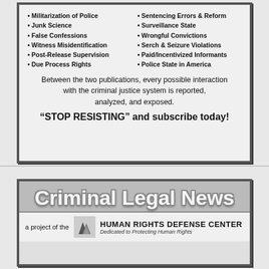Militarization of Police
Junk Science
False Confessions
Witness Misidentification
Post-Release Supervision
Due Process Rights
Sentencing Errors & Reform
Surveillance State
Wrongful Convictions
Serch & Seizure Violations
Paid/Incentivized Informants
Police State in America
Between the two publications, every possible interaction with the criminal justice system is reported, analyzed, and exposed.
“STOP RESISTING” and subscribe today!
[Figure (logo): Criminal Legal News logo in large bold stylized text with 3D effect]
a project of the   HUMAN RIGHTS DEFENSE CENTER   Dedicated to Protecting Human Rights